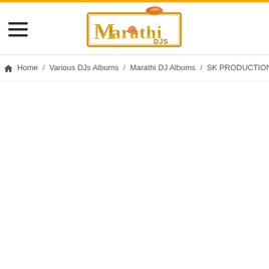[Figure (logo): Marathi DJs logo with golden decorative border and stylized text on white background with orange flame/bird motif on top]
Home / Various DJs Albums / Marathi DJ Albums / SK PRODUCTION VOL 5